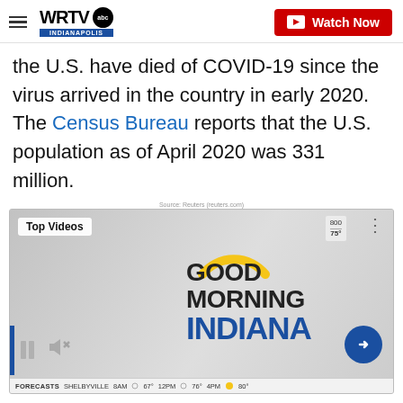WRTV Indianapolis | ABC | Watch Now
the U.S. have died of COVID-19 since the virus arrived in the country in early 2020. The Census Bureau reports that the U.S. population as of April 2020 was 331 million.
Source: Reuters (reuters.com)
[Figure (screenshot): Video thumbnail showing 'Good Morning Indiana' branding with yellow arc logo, dark text and blue 'INDIANA' text. Shows Top Videos badge, weather forecast bar at bottom with FORECASTS, SHELBYVILLE, 8AM 67°, 12PM 76°, 4PM 80°. Pause and mute icons visible, blue arrow button on right.]